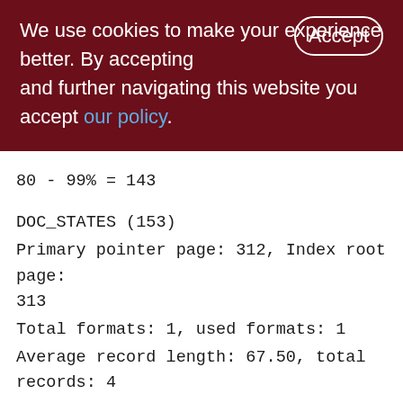We use cookies to make your experience better. By accepting and further navigating this website you accept our policy.
80 - 99% = 143

DOC_STATES (153)
Primary pointer page: 312, Index root page: 313
Total formats: 1, used formats: 1
Average record length: 67.50, total records: 4
Average version length: 0.00, total versions: 0, max versions: 0
Average fragment length: 0.00, total fragments: 0, max fragments: 0